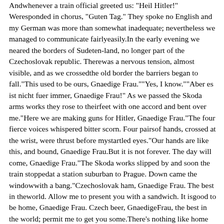Andwhenever a train official greeted us: "Heil Hitler!" Weresponded in chorus, "Guten Tag." They spoke no English and my German was more than somewhat inadequate; nevertheless we managed to communicate fairlyeasily.In the early evening we neared the borders of Sudeten-land, no longer part of the Czechoslovak republic. Therewas a nervous tension, almost visible, and as we crossedthe old border the barriers began to fall."This used to be ours, Gnaedige Frau.""Yes, I know.""Aber es ist nicht fuer immer, Gnaedige Frau!" As we passed the Skoda arms works they rose to theirfeet with one accord and bent over me."Here we are making guns for Hitler, Gnaedige Frau."The four fierce voices whispered bitter scorn. Four pairsof hands, crossed at the wrist, were thrust before mystartled eyes."Our hands are like this, and bound, Gnaedige Frau.But it is not forever. The day will come, Gnaedige Frau."The Skoda works slipped by and soon the train stoppedat a station suburban to Prague. Down came the windowwith a bang."Czechoslovak ham, Gnaedige Frau. The best in theworld. Allow me to present you with a sandwich. It isgood to be home, Gnaedige Frau. Czech beer, GnaedigeFrau, the best in the world; permit me to get you some.There's nothing like home food, Gnaedige Frau."As we slowly moved into the Prague station we shookhands in farewell. "Remember our hands are tied. It isnot forever. The day will come. Auf wiedersehen. Good-by."Two weeks later I saw Hitler's legions clatter throughthe grief-stricken streets of Prague. Then I rememberedthese four men. Somewhere